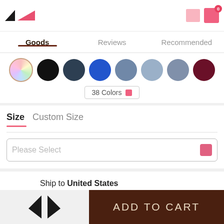[Figure (screenshot): E-commerce app top navigation bar with logo and cart icon showing 0 items]
Goods   Reviews   Recommended
[Figure (illustration): Color swatches row showing 8 circular color options: rainbow/iridescent, black, dark navy, blue, slate gray, light blue, gray blue, burgundy]
38 Colors
Size   Custom Size
Please Select
Ship to United States
Tailoring Time: 12-15 Days, Shipping Time: 3-7 Days
Order today, get it Sep. 16 - Sep. 23
ADD TO CART